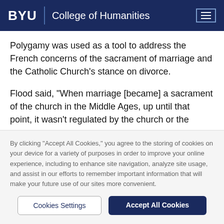BYU | College of Humanities
Polygamy was used as a tool to address the French concerns of the sacrament of marriage and the Catholic Church’s stance on divorce.
Flood said, “When marriage [became] a sacrament of the church in the Middle Ages, up until that point, it wasn't regulated by the church or the government
By clicking “Accept All Cookies,” you agree to the storing of cookies on your device for a variety of purposes in order to improve your online experience, including to enhance site navigation, analyze site usage, and assist in our efforts to remember important information that will make your future use of our sites more convenient.
Cookies Settings
Accept All Cookies